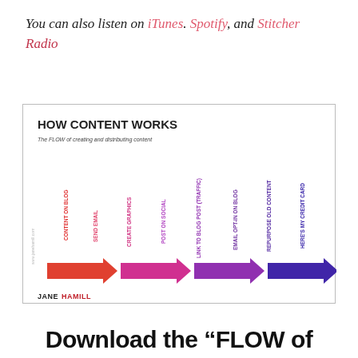You can also listen on iTunes. Spotify, and Stitcher Radio
[Figure (infographic): HOW CONTENT WORKS infographic showing the FLOW of creating and distributing content. Eight steps shown as colored arrows: CONTENT ON BLOG, SEND EMAIL, CREATE GRAPHICS, POST ON SOCIAL, LINK TO BLOG POST (TRAFFIC), EMAIL OPT-IN ON BLOG, REPURPOSE OLD CONTENT, HERE'S MY CREDIT CARD. Arrows transition from red/orange to pink/magenta to purple to dark purple-blue. Logo: JANEHAMILL at bottom left.]
Download the “FLOW of